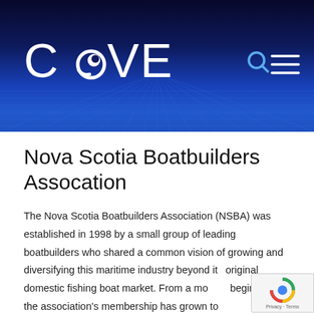[Figure (logo): COVE logo with spiral/wave icon replacing the letter O, white text on dark navy/blue gradient banner with perspective grid lines]
Nova Scotia Boatbuilders Assocation
The Nova Scotia Boatbuilders Association (NSBA) was established in 1998 by a small group of leading boatbuilders who shared a common vision of growing and diversifying this maritime industry beyond its original domestic fishing boat market. From a modest beginning, the association's membership has grown to